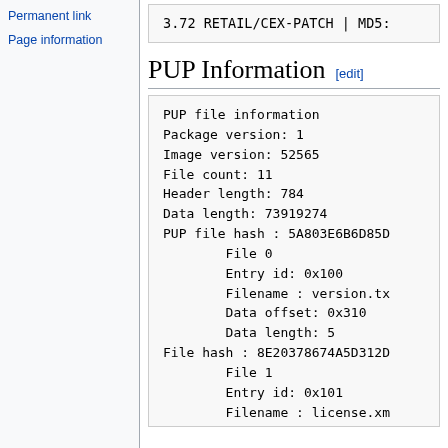Permanent link
Page information
3.72 RETAIL/CEX-PATCH | MD5:
PUP Information [edit]
PUP file information
Package version: 1
Image version: 52565
File count: 11
Header length: 784
Data length: 73919274
PUP file hash : 5A803E6B6D85D
        File 0
        Entry id: 0x100
        Filename : version.tx
        Data offset: 0x310
        Data length: 5
File hash : 8E20378674A5D312D
        File 1
        Entry id: 0x101
        Filename : license.xm
        Data offset: 0x315